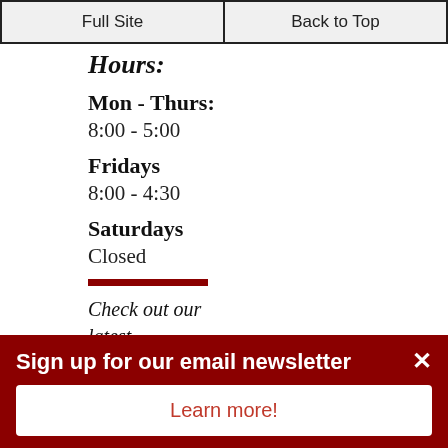Full Site | Back to Top
Hours:
Mon - Thurs:
8:00 - 5:00
Fridays
8:00 - 4:30
Saturdays
Closed
Check out our latest Newsletter here
Sign up for our email newsletter
Learn more!